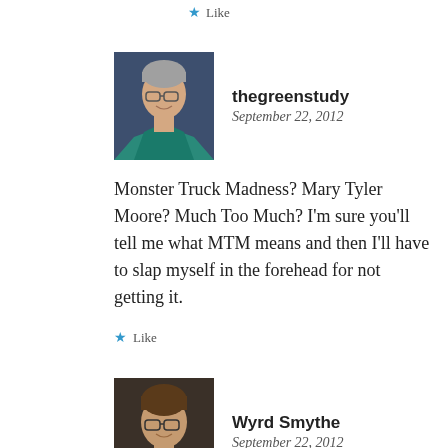Like
[Figure (photo): Avatar of thegreenstudy: elderly woman with short grey hair and glasses, wearing a teal scarf]
thegreenstudy
September 22, 2012
Monster Truck Madness? Mary Tyler Moore? Much Too Much? I’m sure you’ll tell me what MTM means and then I’ll have to slap myself in the forehead for not getting it.
Like
[Figure (photo): Avatar of Wyrd Smythe: middle-aged man with glasses and short brown hair, wearing a dark jacket]
Wyrd Smythe
September 22, 2012